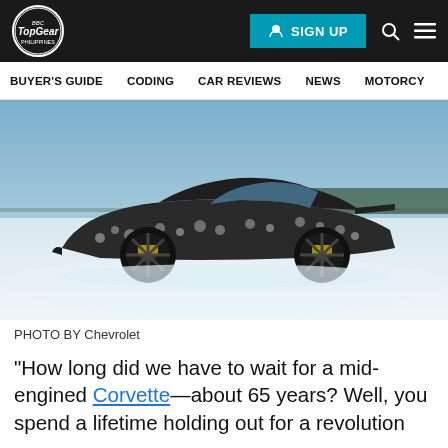Top Gear Philippines | SIGN UP
BUYER'S GUIDE   CODING   CAR REVIEWS   NEWS   MOTORCY
[Figure (photo): A camouflaged mid-engine Corvette sports car photographed on a snowy surface with treeline in background]
PHOTO BY Chevrolet
“How long did we have to wait for a mid-engined Corvette—about 65 years? Well, you spend a lifetime holding out for a revolution